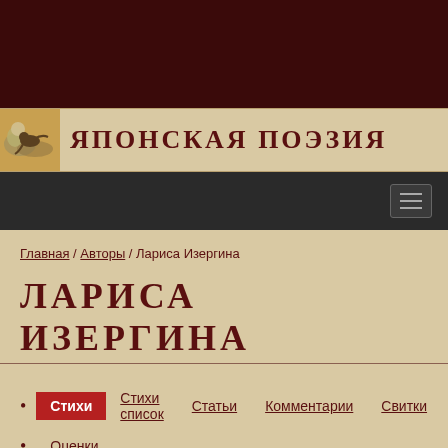[Figure (illustration): Dark maroon/burgundy top header bar of a website]
ЯПОНСКАЯ ПОЭЗИЯ
[Figure (illustration): Hamburger menu icon on dark navigation bar]
Главная / Авторы / Лариса Изергина
ЛАРИСА ИЗЕРГИНА
Стихи  Стихи список  Статьи  Комментарии  Свитки
Оценки
СТИХИ